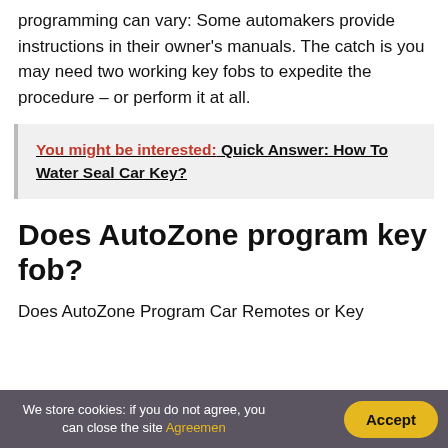programming can vary: Some automakers provide instructions in their owner's manuals. The catch is you may need two working key fobs to expedite the procedure – or perform it at all.
You might be interested:  Quick Answer: How To Water Seal Car Key?
Does AutoZone program key fob?
Does AutoZone Program Car Remotes or Key
We store cookies: if you do not agree, you can close the site Agreemen